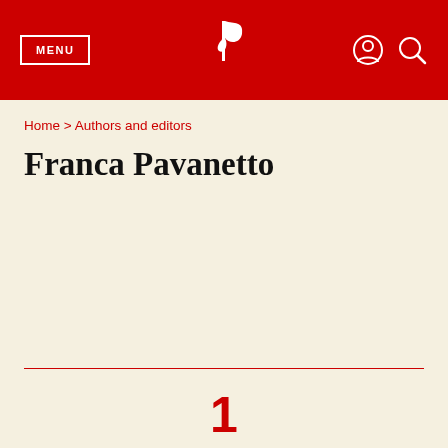MENU | [logo] | [user icon] [search icon]
Home > Authors and editors
Franca Pavanetto
1